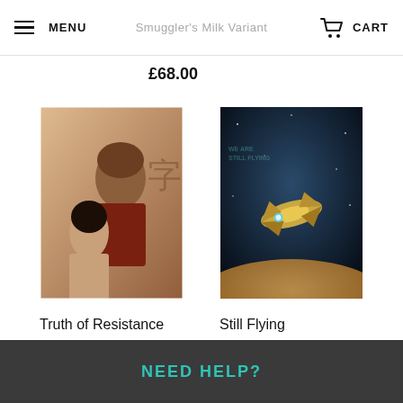MENU | [title obscured] | CART
£68.00
[Figure (photo): Portrait illustration of two characters — a man and woman — from a sci-fi/fantasy setting with Asian calligraphy in background]
Truth of Resistance
£55.00
[Figure (photo): Sci-fi illustration of a spaceship flying in space above a planet, with text 'We Are Still Flying' in background]
Still Flying
£55.00
.
NEED HELP?